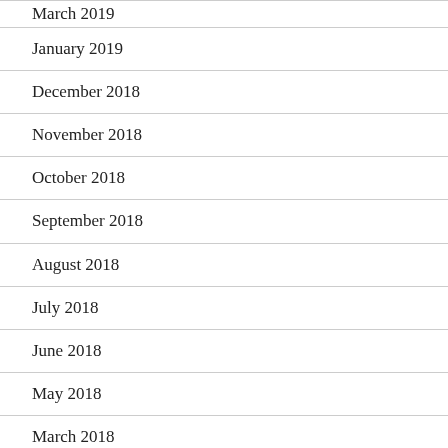March 2019
January 2019
December 2018
November 2018
October 2018
September 2018
August 2018
July 2018
June 2018
May 2018
March 2018
February 2017